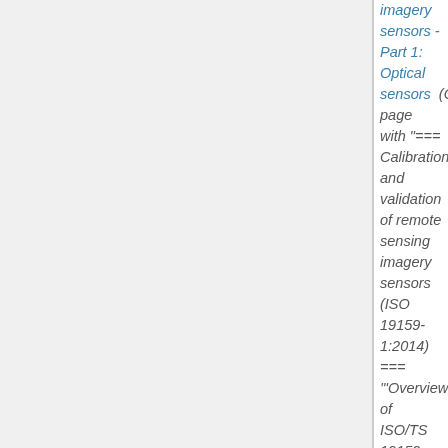imagery sensors - Part 1: Optical sensors (Created page with "=== Calibration and validation of remote sensing imagery sensors (ISO 19159-1:2014) === '"'Overview of ISO/TS 19159-1:2014'"' {| style="border-spacing:0;" | style="border-to...")
17:18, 4 May 2016 (diff | hist) . . (+2) . . ISO/TS 19158:2012 Geographic information - Quality assurance of data supply
17:17, 4 May 2016 (diff | hist) . . (0) . . ISO/TS 19158:2012 Geographic information - Quality assurance of data supply
17:17, 4 May 2016 (diff | hist) . . (0) . . N File:MAfA SectionC Integrated V10 html 10 2.gif (current)
17:16, 4 May 2016 (diff | hist) . .